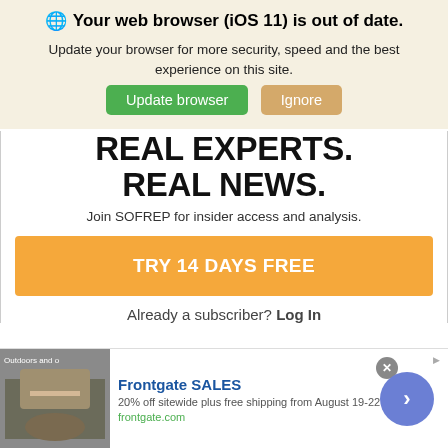Your web browser (iOS 11) is out of date.
Update your browser for more security, speed and the best experience on this site.
[Figure (screenshot): Two buttons: green 'Update browser' button and tan/gold 'Ignore' button]
REAL EXPERTS. REAL NEWS.
Join SOFREP for insider access and analysis.
TRY 14 DAYS FREE
Already a subscriber? Log In
[Figure (screenshot): Advertisement banner for Frontgate SALES. Shows outdoor furniture photo, headline 'Frontgate SALES', text '20% off sitewide plus free shipping from August 19-22', URL 'frontgate.com', with a blue arrow button and close X button.]